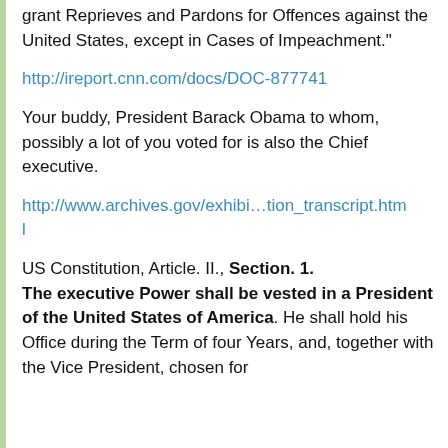grant Reprieves and Pardons for Offences against the United States, except in Cases of Impeachment."
http://ireport.cnn.com/docs/DOC-877741
Your buddy, President Barack Obama to whom, possibly a lot of you voted for is also the Chief executive.
http://www.archives.gov/exhibi…tion_transcript.html
US Constitution, Article. II., Section. 1. The executive Power shall be vested in a President of the United States of America. He shall hold his Office during the Term of four Years, and, together with the Vice President, chosen for